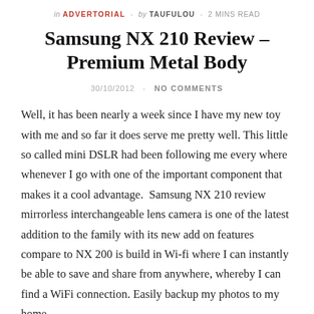in ADVERTORIAL - by TAUFULOU - 2 MINS READ
Samsung NX 210 Review – Premium Metal Body
30/10/2012  -  NO COMMENTS
Well, it has been nearly a week since I have my new toy with me and so far it does serve me pretty well. This little so called mini DSLR had been following me every where whenever I go with one of the important component that makes it a cool advantage.  Samsung NX 210 review mirrorless interchangeable lens camera is one of the latest addition to the family with its new add on features compare to NX 200 is build in Wi-fi where I can instantly be able to save and share from anywhere, whereby I can find a WiFi connection. Easily backup my photos to my home